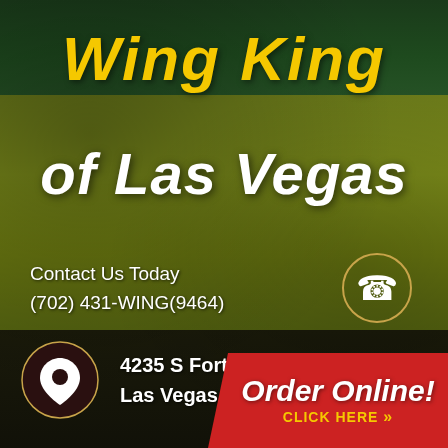Wing King
of Las Vegas
Contact Us Today
(702) 431-WING(9464)
[Figure (illustration): Phone handset icon in a circular border]
[Figure (illustration): Map location pin icon in a circular border]
4235 S Fort Apache Rd.
Las Vegas, NV. 89147
Order Online!
CLICK HERE »